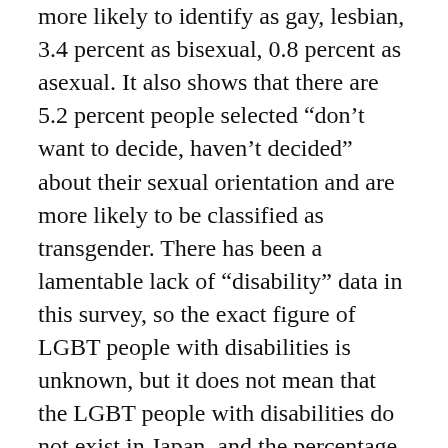more likely to identify as gay, lesbian, 3.4 percent as bisexual, 0.8 percent as asexual. It also shows that there are 5.2 percent people selected “don’t want to decide, haven’t decided” about their sexual orientation and are more likely to be classified as transgender. There has been a lamentable lack of “disability” data in this survey, so the exact figure of LGBT people with disabilities is unknown, but it does not mean that the LGBT people with disabilities do not exist in Japan, and the percentage seems to be just un-visualized.
	The Everyday Experience of Lesbian, Gay, Bisexual, Transgender, and Intersex (LGBTI) People Living with Disability (2018) shows that compared with people with disability and